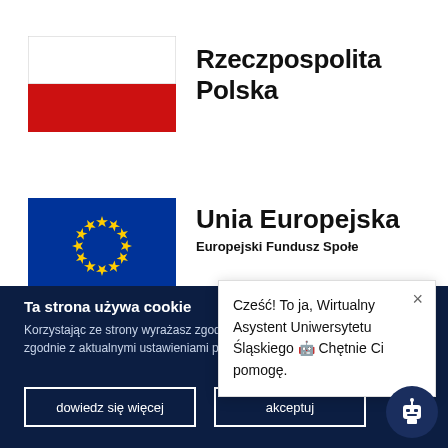[Figure (illustration): Polish national flag — top half white, bottom half red]
Rzeczpospolita Polska
[Figure (illustration): European Union flag — blue background with circle of 12 gold stars]
Unia Europejska
Europejski Fundusz Spole
Ta strona używa cookie
Korzystając ze strony wyrażasz zgodę na uż zgodnie z aktualnymi ustawieniami przeglą
dowiedz się więcej
akceptuj
Cześć! To ja, Wirtualny Asystent Uniwersytetu Śląskiego 🤖 Chętnie Ci pomogę.
[Figure (illustration): Robot chatbot icon in dark blue circle]